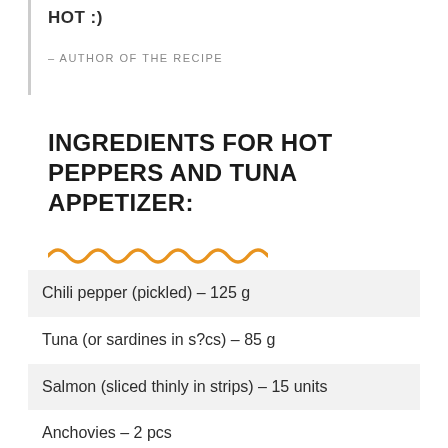HOT :)
– AUTHOR OF THE RECIPE
INGREDIENTS FOR HOT PEPPERS AND TUNA APPETIZER:
Chili pepper (pickled) – 125 g
Tuna (or sardines in s?cs) – 85 g
Salmon (sliced thinly in strips) – 15 units
Anchovies – 2 pcs
Parmesan (grated) – 1 tablepoon
Cheese mass – 2 tablespoon